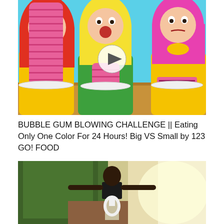[Figure (photo): YouTube video thumbnail showing three women with colorful wigs (red, yellow, pink) sitting at a table with stacks of pink bubble gum on plates. A play button is visible in the center. Background is light blue.]
BUBBLE GUM BLOWING CHALLENGE || Eating Only One Color For 24 Hours! Big VS Small by 123 GO! FOOD
[Figure (photo): Outdoor photo of a person standing on a dirt path surrounded by green trees, with arms spread wide, holding what appears to be a white tire or ring object. Background shows bright light on the right side.]